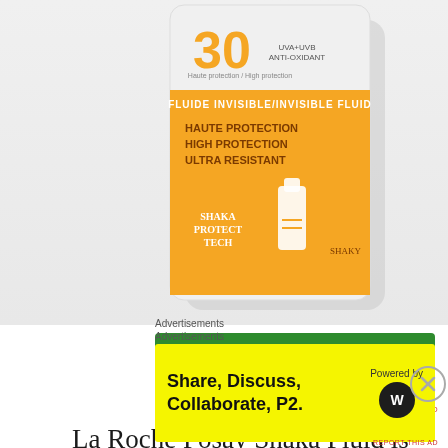[Figure (photo): La Roche Posay Shaka Fluid SPF 30 sunscreen product bottle/box with orange label showing UVA+UVB ANTI-OXIDANT, FLUIDE INVISIBLE/INVISIBLE FLUID, HAUTE PROTECTION HIGH PROTECTION ULTRA RESISTANT, SHAKA PROTECT TECH branding]
Advertisements
[Figure (other): Jetpack advertisement banner with green background - Jetpack logo on left with lightning bolt circle icon, and 'Back up your site' button on right]
REPORT THIS AD
La Roche Posay Shaka Fluid is like a lightweight serum to me that gets absorbed very easily into the skin , has watery texture and I could easily spread it across my skin and rub it in easily. No
Advertisements
[Figure (other): P2 advertisement banner with yellow background - 'Share, Discuss, Collaborate, P2.' text on left and 'Powered by WordPress' logo on right]
REPORT THIS AD